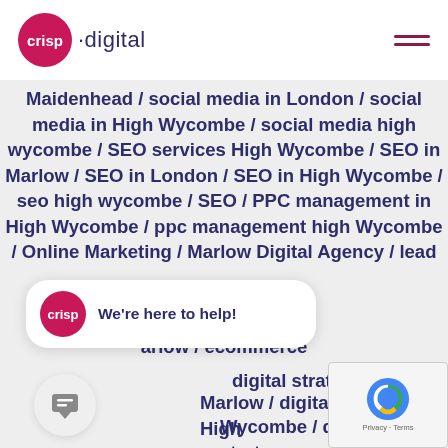crisp digital
Maidenhead / social media in London / social media in High Wycombe / social media high wycombe / SEO services High Wycombe / SEO in Marlow / SEO in London / SEO in High Wycombe / seo high wycombe / SEO / PPC management in High Wycombe / ppc management high Wycombe / Online Marketing / Marlow Digital Agency / lead ...erview / ecommerce ...Marlow / ecommerce ...d / digital strategy in Marlow / digital strategy in High Wycombe / digital strategy in Berkshire / Digital Scorecard / d... marketing High Wycombe / D... Marketing / digital business / Digital
[Figure (other): Crisp Digital chat widget: crisp logo with text 'We're here to help!']
[Figure (other): Message/chat icon button]
[Figure (other): reCAPTCHA widget with logo and Privacy - Terms text]